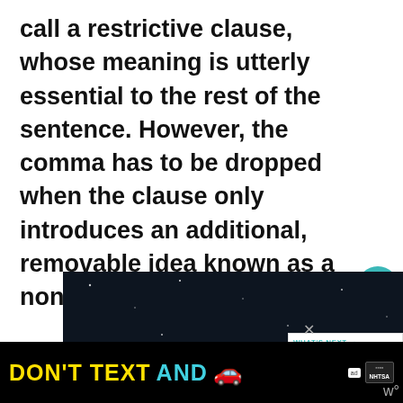call a restrictive clause, whose meaning is utterly essential to the rest of the sentence. However, the comma has to be dropped when the clause only introduces an additional, removable idea known as a nonrestrictive clause.
[Figure (illustration): Dark space background illustration showing stars, a planet, and an astronaut silhouette]
[Figure (screenshot): What's Next panel: thumbnail for 'Comma before provided:...' article]
[Figure (infographic): DON'T TEXT AND [car emoji] advertisement banner by NHTSA]